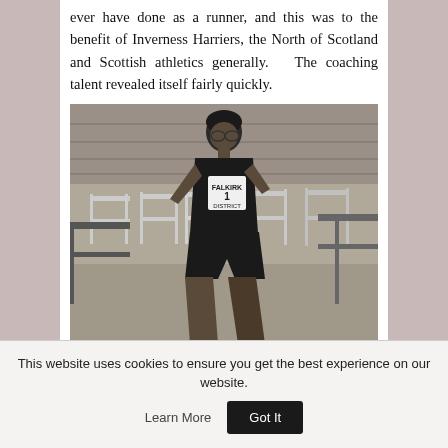ever have done as a runner, and this was to the benefit of Inverness Harriers, the North of Scotland and Scottish athletics generally.   The coaching talent revealed itself fairly quickly.
[Figure (photo): Black and white photograph of a male athlete wearing a vest numbered '1' with 'FALKIRK DISTRICT' written on it, running hurdles on a track. Multiple hurdles are visible in the background. The athlete is mid-stride, clearing a hurdle.]
This website uses cookies to ensure you get the best experience on our website.
Learn More
Got It